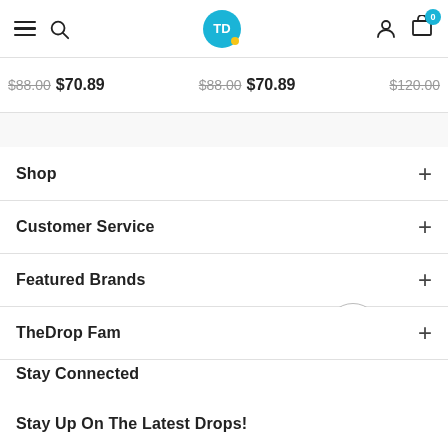TD navigation bar with hamburger menu, search, TD logo, user icon, cart (0)
$88.00 $70.89  $88.00 $70.89  $120.00
Shop +
Customer Service +
Featured Brands +
TheDrop Fam +
Stay Connected
Stay Up On The Latest Drops!